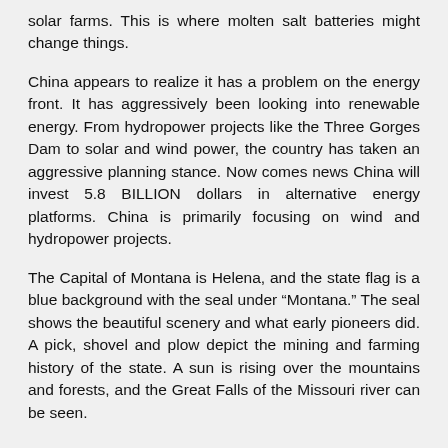solar farms. This is where molten salt batteries might change things.
China appears to realize it has a problem on the energy front. It has aggressively been looking into renewable energy. From hydropower projects like the Three Gorges Dam to solar and wind power, the country has taken an aggressive planning stance. Now comes news China will invest 5.8 BILLION dollars in alternative energy platforms. China is primarily focusing on wind and hydropower projects.
The Capital of Montana is Helena, and the state flag is a blue background with the seal under “Montana.” The seal shows the beautiful scenery and what early pioneers did. A pick, shovel and plow depict the mining and farming history of the state. A sun is rising over the mountains and forests, and the Great Falls of the Missouri river can be seen.